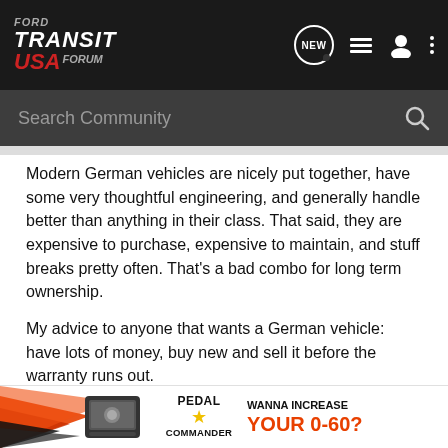Ford Transit USA Forum — navigation bar with logo, NEW, list, user, more icons
Search Community
Modern German vehicles are nicely put together, have some very thoughtful engineering, and generally handle better than anything in their class. That said, they are expensive to purchase, expensive to maintain, and stuff breaks pretty often. That's a bad combo for long term ownership.
My advice to anyone that wants a German vehicle: have lots of money, buy new and sell it before the warranty runs out.
I used to include that being able to repair things yourself is a huge benefit, but most cars built in the last 5 years aren't super easy for shade tree mechanics to work on.
Ymmv,
[Figure (infographic): Pedal Commander advertisement banner: orange/black graphic with device image, PEDAL COMMANDER logo with star, and text WANNA INCREASE YOUR 0-60?]